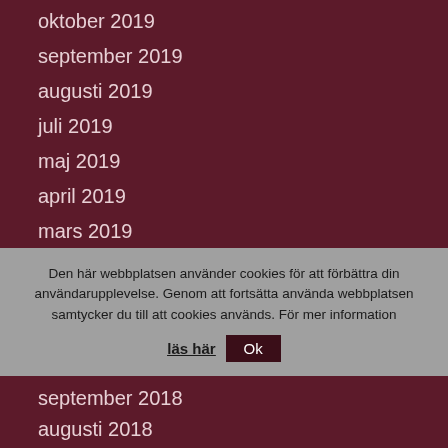oktober 2019
september 2019
augusti 2019
juli 2019
maj 2019
april 2019
mars 2019
februari 2019
januari 2019
Den här webbplatsen använder cookies för att förbättra din användarupplevelse. Genom att fortsätta använda webbplatsen samtycker du till att cookies används. För mer information läs här Ok
oktober 2018
september 2018
augusti 2018
juli 2018
juni 2018